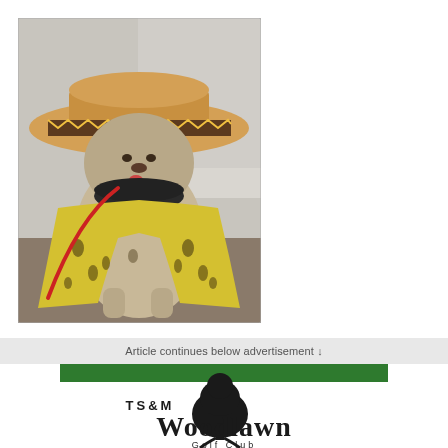[Figure (photo): A fluffy dog wearing a tan sombrero hat with brown and yellow zigzag trim band, and a yellow spotted poncho/cape, with a dark bandana around its neck, standing indoors on a wood floor.]
Article continues below advertisement ↓
[Figure (logo): TS&M Woodlawn Golf Club logo with a green stripe at top, a black tree silhouette, and stylized text reading 'TS&M Woodlawn' with 'Golf Club' below.]